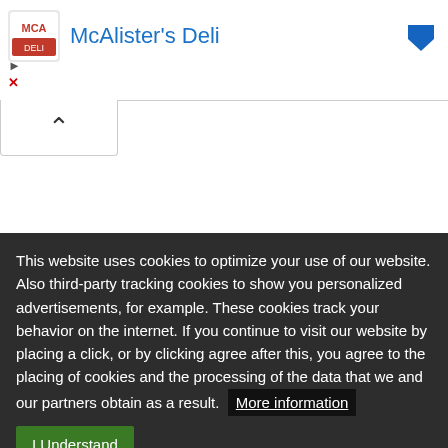[Figure (screenshot): McAlister's Deli advertisement banner with red/white logo, blue text title, and blue navigation arrow on right]
[Figure (screenshot): Collapse/chevron up button below the ad banner]
Filter Results ▾
Browse Listings
This website uses cookies to optimize your use of our website. Also third-party tracking cookies to show you personalized advertisements, for example. These cookies track your behavior on the internet. If you continue to visit our website by placing a click, or by clicking agree after this, you agree to the placing of cookies and the processing of the data that we and our partners obtain as a result.  More information
I Understand